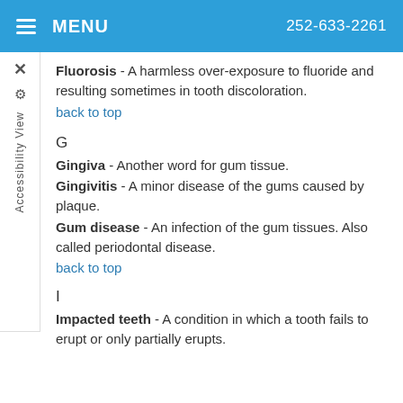MENU  252-633-2261
Fluorosis - A harmless over-exposure to fluoride and resulting sometimes in tooth discoloration.
back to top
G
Gingiva - Another word for gum tissue.
Gingivitis - A minor disease of the gums caused by plaque.
Gum disease - An infection of the gum tissues. Also called periodontal disease.
back to top
I
Impacted teeth - A condition in which a tooth fails to erupt or only partially erupts.